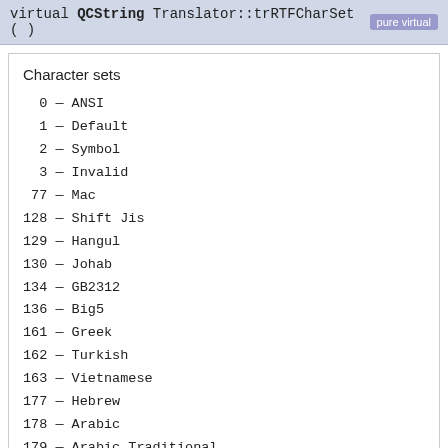virtual QCString Translator::trRTFCharSet ( )  pure virtual
Character sets
0 — ANSI
1 — Default
2 — Symbol
3 — Invalid
77 — Mac
128 — Shift Jis
129 — Hangul
130 — Johab
134 — GB2312
136 — Big5
161 — Greek
162 — Turkish
163 — Vietnamese
177 — Hebrew
178 — Arabic
179 — Arabic Traditional
180 — Arabic user